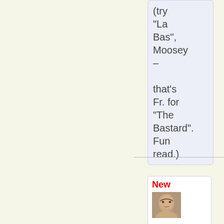(try “La Bas”, Moosey – that’s Fr. for “The Bastard”. Fun read.)
New
[Figure (photo): Small avatar photo of a person]
Moose the